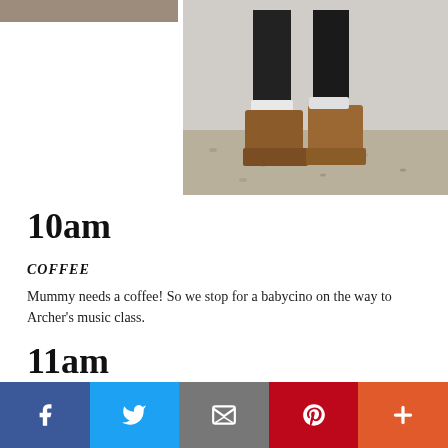[Figure (photo): Photo of person's legs wearing brown boots and dark jeans/leggings, standing on gravelly ground, viewed from mid-calf down]
10am
COFFEE
Mummy needs a coffee! So we stop for a babycino on the way to Archer's music class.
11am
MUSIC LESSON
Music time! We stomp, clap, shake and spin!
Social sharing bar: Facebook, Twitter, Email, Pinterest, More